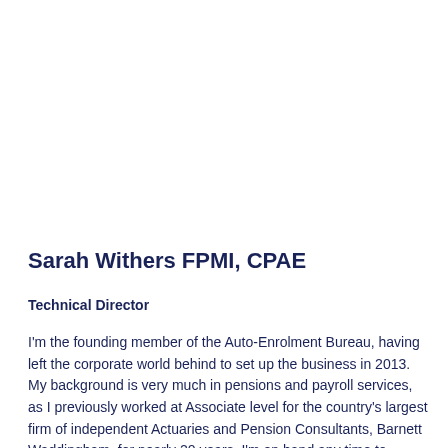Sarah Withers FPMI, CPAE
Technical Director
I'm the founding member of the Auto-Enrolment Bureau, having left the corporate world behind to set up the business in 2013.  My background is very much in pensions and payroll services, as I previously worked at Associate level for the country's largest firm of independent Actuaries and Pension Consultants, Barnett Waddingham, for nearly 20 years. I'm on hand any time to discuss technical issues with clients.  I'm still very